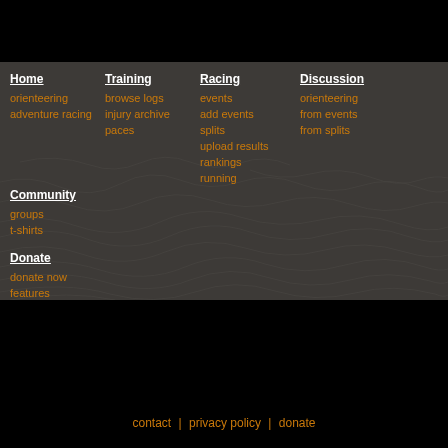Home
orienteering
adventure racing
Training
browse logs
injury archive
paces
Racing
events
add events
splits
upload results
rankings
running
Discussion
orienteering
from events
from splits
Community
groups
t-shirts
Donate
donate now
features
contact | privacy policy | donate